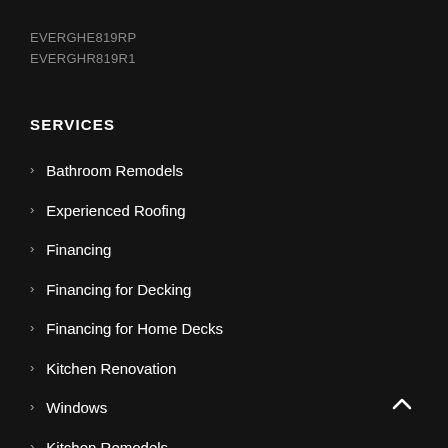EVERGHE819RP
EVERGHR819R1
SERVICES
Bathroom Remodels
Experienced Roofing
Financing
Financing for Decking
Financing for Home Decks
Kitchen Renovation
Windows
Kitchen Remodels